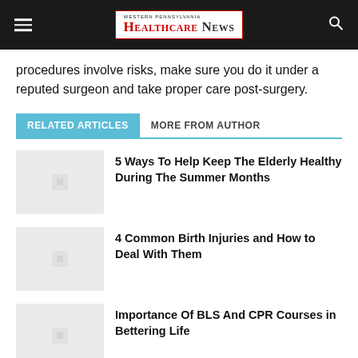Western Pennsylvania Healthcare News
procedures involve risks, make sure you do it under a reputed surgeon and take proper care post-surgery.
RELATED ARTICLES   MORE FROM AUTHOR
5 Ways To Help Keep The Elderly Healthy During The Summer Months
4 Common Birth Injuries and How to Deal With Them
Importance Of BLS And CPR Courses in Bettering Life